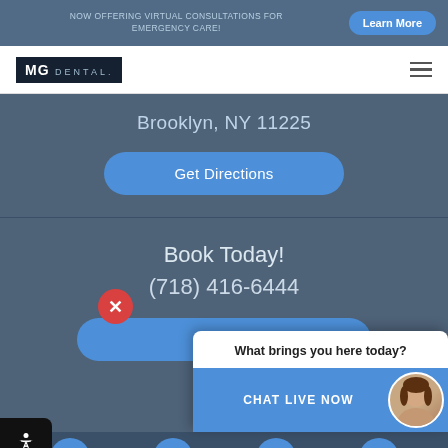NOW OFFERING VIRTUAL CONSULTATIONS FOR EMERGENCY CARE!
[Figure (logo): MG Dental logo in dark rectangular box]
Brooklyn, NY 11225
Get Directions
Book Today!
(718) 416-6444
Requ...
What brings you here today?
CHAT LIVE NOW
[Figure (screenshot): Bottom navigation bar with home, phone, calendar, and location icons]